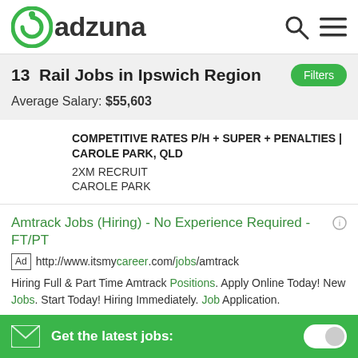Adzuna
13  Rail Jobs in Ipswich Region
Average Salary: $55,603
COMPETITIVE RATES P/H + SUPER + PENALTIES | CAROLE PARK, QLD
2XM RECRUIT
CAROLE PARK
Amtrack Jobs (Hiring) - No Experience Required - FT/PT
Ad http://www.itsmycareer.com/jobs/amtrack
Hiring Full & Part Time Amtrack Positions. Apply Online Today! New Jobs. Start Today! Hiring Immediately. Job Application.
Full Time Jobs - up to $47.00/hr Apply Now
Apply - Amtrack Jobs
Amtrack Careers
Get the latest jobs: